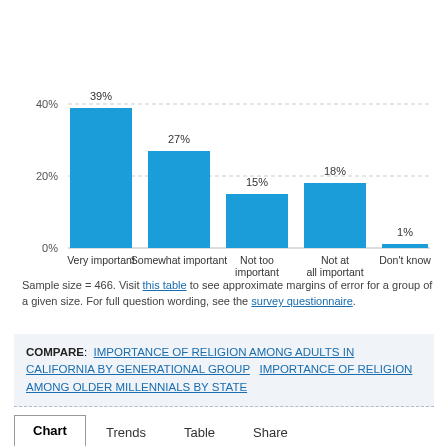[Figure (bar-chart): ]
Sample size = 466. Visit this table to see approximate margins of error for a group of a given size. For full question wording, see the survey questionnaire.
COMPARE: IMPORTANCE OF RELIGION AMONG ADULTS IN CALIFORNIA BY GENERATIONAL GROUP   IMPORTANCE OF RELIGION AMONG OLDER MILLENNIALS BY STATE
Chart   Trends   Table   Share